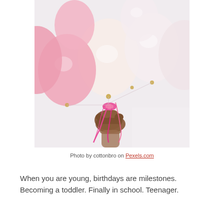[Figure (photo): A hand holding a bunch of pink and white balloons with pink ribbons, against a light background]
Photo by cottonbro on Pexels.com
When you are young, birthdays are milestones. Becoming a toddler. Finally in school. Teenager.